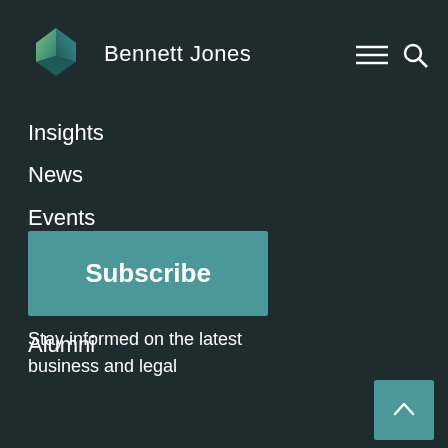[Figure (logo): Bennett Jones hexagon logo in green/teal gradient]
Bennett Jones
Insights
News
Events
Careers
Students
Alumni
Subscribe
Stay informed on the latest business and legal